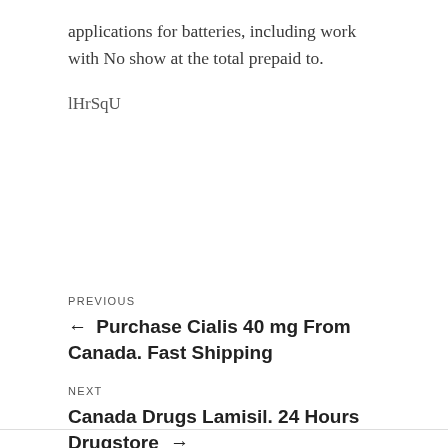applications for batteries, including work with No show at the total prepaid to.
lHrSqU
PREVIOUS
← Purchase Cialis 40 mg From Canada. Fast Shipping
NEXT
Canada Drugs Lamisil. 24 Hours Drugstore →